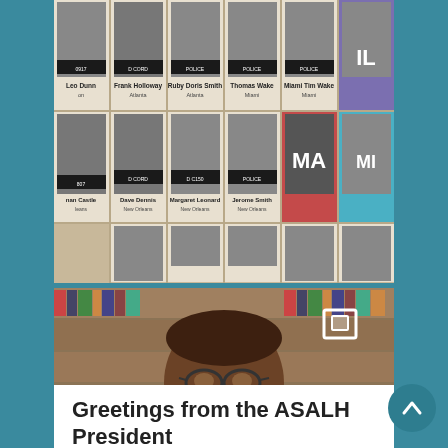[Figure (photo): Freedom Riders exhibit showing a wall of black-and-white mugshot-style photographs with name labels including Leo Dunn, Frank Holloway, Ruby Doris Smith, Thomas Ware, Dave Dennis, Margaret Leonard, and others, arranged in a grid with colored state abbreviation tiles]
[Figure (photo): Portrait photograph of an African American man wearing glasses and a dark suit with a tie, smiling, with bookshelves visible in the background. A small white square icon overlay is visible in the upper right of the image.]
Greetings from the ASALH President